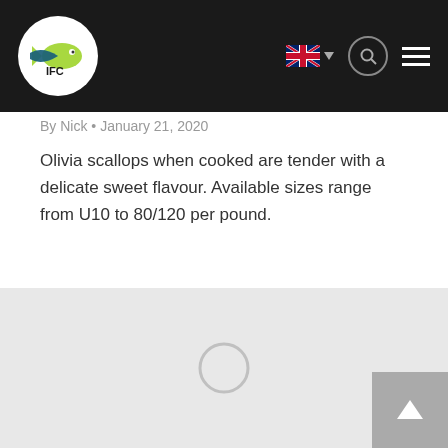IFC — navigation bar with logo, language selector, search, and menu
By Nick • January 21, 2020
Olivia scallops when cooked are tender with a delicate sweet flavour. Available sizes range from U10 to 80/120 per pound.
[Figure (photo): Image loading placeholder — light gray rectangle with a circular spinner in the center]